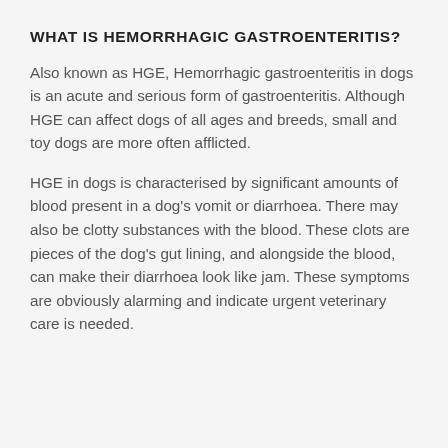WHAT IS HEMORRHAGIC GASTROENTERITIS?
Also known as HGE, Hemorrhagic gastroenteritis in dogs is an acute and serious form of gastroenteritis. Although HGE can affect dogs of all ages and breeds, small and toy dogs are more often afflicted.
HGE in dogs is characterised by significant amounts of blood present in a dog’s vomit or diarrhoea. There may also be clotty substances with the blood. These clots are pieces of the dog’s gut lining, and alongside the blood, can make their diarrhoea look like jam. These symptoms are obviously alarming and indicate urgent veterinary care is needed.